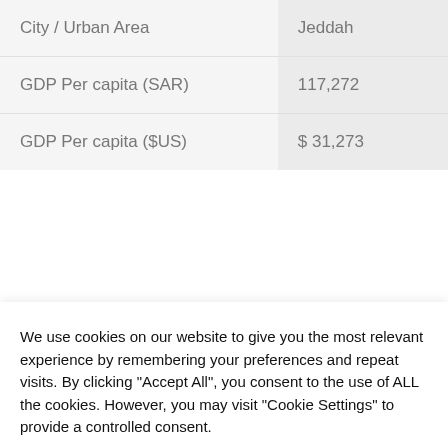| City / Urban Area | Jeddah |
| --- | --- |
| GDP Per capita (SAR) | 117,272 |
| GDP Per capita ($US) | $ 31,273 |
Is Saudi Arabia rich or poor?
Whether you are rich or you are poor, these—indeed—are
We use cookies on our website to give you the most relevant experience by remembering your preferences and repeat visits. By clicking "Accept All", you consent to the use of ALL the cookies. However, you may visit "Cookie Settings" to provide a controlled consent.